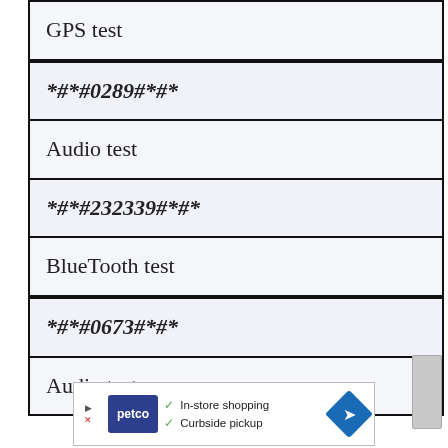| GPS test |
| *#*#0289#*#* |
| Audio test |
| *#*#232339#*#* |
| BlueTooth test |
| *#*#0673#*#* |
| Audio test |
[Figure (screenshot): Advertisement banner for Petco showing in-store shopping and curbside pickup options with a navigation arrow icon]